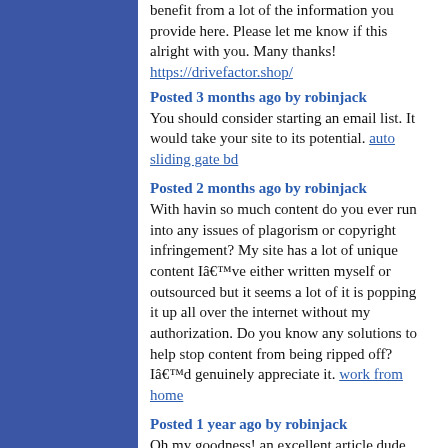benefit from a lot of the information you provide here. Please let me know if this alright with you. Many thanks! https://drivefactor.shop/
Posted 3 months ago by robinjack
You should consider starting an email list. It would take your site to its potential. auto sliding gate bd
Posted 2 months ago by robinjack
With havin so much content do you ever run into any issues of plagorism or copyright infringement? My site has a lot of unique content Iâ€™ve either written myself or outsourced but it seems a lot of it is popping it up all over the internet without my authorization. Do you know any solutions to help stop content from being ripped off? Iâ€™d genuinely appreciate it. work from home
Posted 1 year ago by robinjack
Oh my goodness! an excellent article dude. Thanks a lot Even so Iâ€™m experiencing problem with ur rss . Do not know why Struggle to register for it. Can there be any person finding identical rss issue? Anyone who knows kindly respond. Thnkx
Versicherungsleads